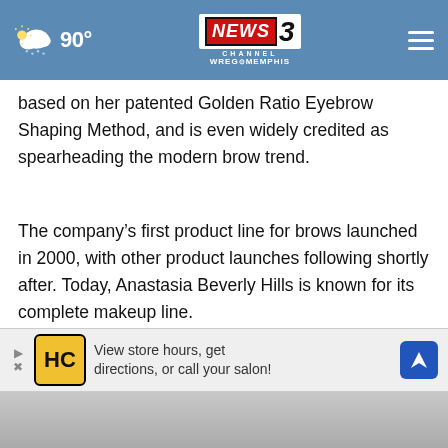90° | NEWS CHANNEL 3 WREG MEMPHIS
based on her patented Golden Ratio Eyebrow Shaping Method, and is even widely credited as spearheading the modern brow trend.
The company's first product line for brows launched in 2000, with other product launches following shortly after. Today, Anastasia Beverly Hills is known for its complete makeup line.
Anastasia Brow Definer
[Figure (photo): Product image partially visible at bottom of page]
View store hours, get directions, or call your salon!